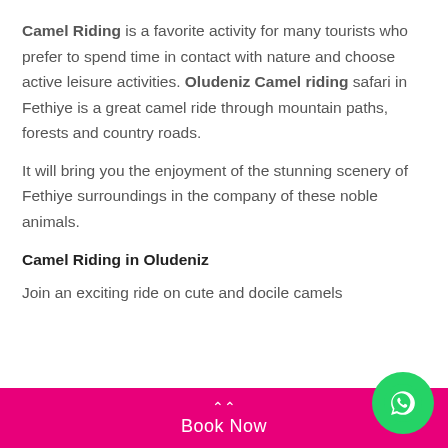Camel Riding is a favorite activity for many tourists who prefer to spend time in contact with nature and choose active leisure activities. Oludeniz Camel riding safari in Fethiye is a great camel ride through mountain paths, forests and country roads.
It will bring you the enjoyment of the stunning scenery of Fethiye surroundings in the company of these noble animals.
Camel Riding in Oludeniz
Join an exciting ride on cute and docile camels
Book Now